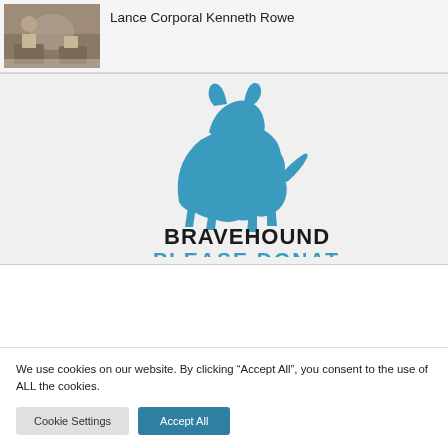[Figure (photo): Photo of a military person (boots/uniform visible), earthy tones]
Lance Corporal Kenneth Rowe
[Figure (logo): Bravehound logo: blue Scottish terrier silhouette above text 'BRAVEHOUND' in distressed black font and 'PLEASE DONATE' in blue bold font]
We use cookies on our website. By clicking “Accept All”, you consent to the use of ALL the cookies.
Cookie Settings
Accept All